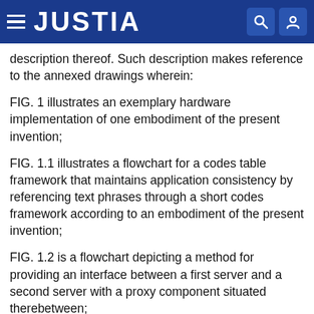JUSTIA
description thereof. Such description makes reference to the annexed drawings wherein:
FIG. 1 illustrates an exemplary hardware implementation of one embodiment of the present invention;
FIG. 1.1 illustrates a flowchart for a codes table framework that maintains application consistency by referencing text phrases through a short codes framework according to an embodiment of the present invention;
FIG. 1.2 is a flowchart depicting a method for providing an interface between a first server and a second server with a proxy component situated therebetween;
FIG. 1.3 shows the execution architecture for components that make up the SAP Framework